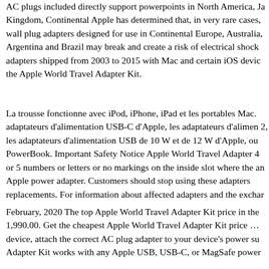AC plugs included directly support powerpoints in North America, Ja Kingdom, Continental Apple has determined that, in very rare cases, wall plug adapters designed for use in Continental Europe, Australia, Argentina and Brazil may break and create a risk of electrical shock adapters shipped from 2003 to 2015 with Mac and certain iOS devic the Apple World Travel Adapter Kit.
La trousse fonctionne avec iPod, iPhone, iPad et les portables Mac. adaptateurs d'alimentation USB-C d'Apple, les adaptateurs d'alimen 2, les adaptateurs d'alimentation USB de 10 W et de 12 W d'Apple, ou PowerBook. Important Safety Notice Apple World Travel Adapter 4 or 5 numbers or letters or no markings on the inside slot where the an Apple power adapter. Customers should stop using these adapters replacements. For information about affected adapters and the exchar
February, 2020 The top Apple World Travel Adapter Kit price in the 1,990.00. Get the cheapest Apple World Travel Adapter Kit price … device, attach the correct AC plug adapter to your device's power su Adapter Kit works with any Apple USB, USB-C, or MagSafe power